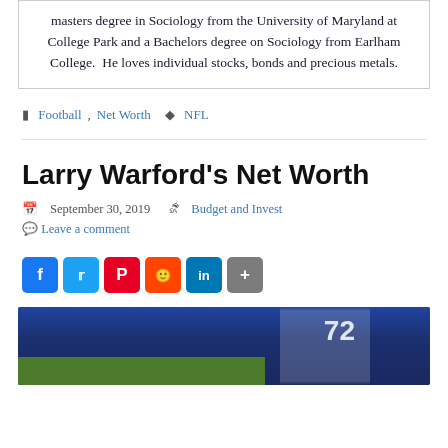masters degree in Sociology from the University of Maryland at College Park and a Bachelors degree on Sociology from Earlham College.  He loves individual stocks, bonds and precious metals.
Football, Net Worth  NFL
Larry Warford's Net Worth
September 30, 2019  Budget and Invest
Leave a comment
[Figure (infographic): Social media share buttons: Facebook, Twitter, Pinterest, Reddit, LinkedIn, Share]
[Figure (photo): Photo of Larry Warford in a blue football uniform with number 72, on a football field]